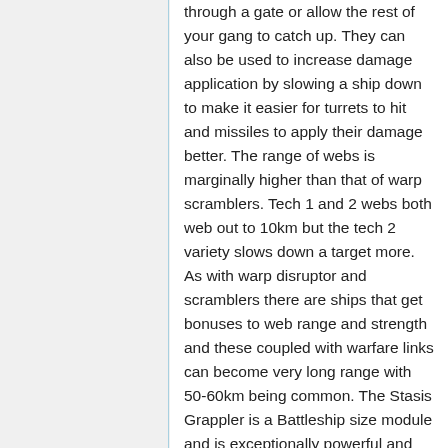through a gate or allow the rest of your gang to catch up. They can also be used to increase damage application by slowing a ship down to make it easier for turrets to hit and missiles to apply their damage better. The range of webs is marginally higher than that of warp scramblers. Tech 1 and 2 webs both web out to 10km but the tech 2 variety slows down a target more. As with warp disruptor and scramblers there are ships that get bonuses to web range and strength and these coupled with warfare links can become very long range with 50-60km being common. The Stasis Grappler is a Battleship size module and is exceptionally powerful and dangerous to small ships that are trying to mitigate damage by flying in very tight orbits to the battleship.